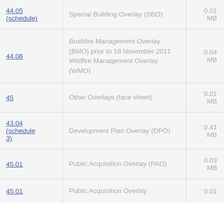|  |  |  |
| --- | --- | --- |
| 44.05 (schedule) | Special Building Overlay (SBO) | 0.01 MB |
| 44.06 | Bushfire Management Overlay (BMO) prior to 18 November 2011 Wildfire Management Overlay (WMO) | 0.04 MB |
| 45 | Other Overlays (face sheet) | 0.01 MB |
| 43.04 (schedule 3) | Development Plan Overlay (DPO) | 0.41 MB |
| 45.01 | Public Acquisition Overlay (PAO) | 0.03 MB |
| 45.01 | Public Acquisition Overlay | 0.01 |